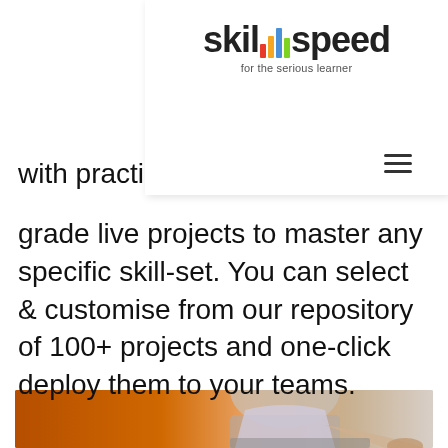[Figure (logo): Skillspeed logo with colored bar chart letters and tagline 'for the serious learner']
with practicals and industry grade live projects to master any specific skill-set. You can select & customise from our repository of 100+ projects and one-click deploy them to your teams.
[Figure (photo): Person in light blue shirt sitting at desk with laptop and pen, orange background]